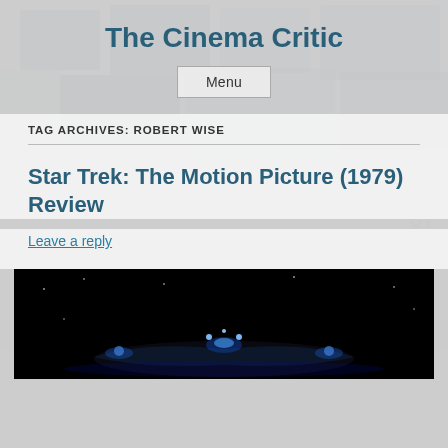The Cinema Critic
Menu
TAG ARCHIVES: ROBERT WISE
Star Trek: The Motion Picture (1979) Review
Leave a reply
[Figure (photo): Dark cinematic image of a spacecraft or vehicle with blue glowing lights against a black background, from Star Trek: The Motion Picture (1979)]